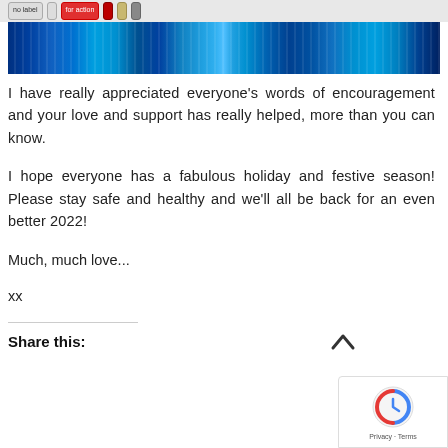navigation bar with buttons
[Figure (illustration): Blue vertical gradient banner with dark and light blue striped pattern]
I have really appreciated everyone’s words of encouragement and your love and support has really helped, more than you can know.
I hope everyone has a fabulous holiday and festive season! Please stay safe and healthy and we’ll all be back for an even better 2022!
Much, much love...
xx
Share this: